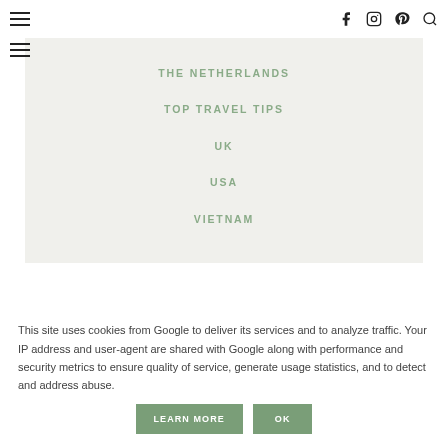≡  f  instagram  pinterest  search
THE NETHERLANDS
TOP TRAVEL TIPS
UK
USA
VIETNAM
This site uses cookies from Google to deliver its services and to analyze traffic. Your IP address and user-agent are shared with Google along with performance and security metrics to ensure quality of service, generate usage statistics, and to detect and address abuse.
LEARN MORE  OK